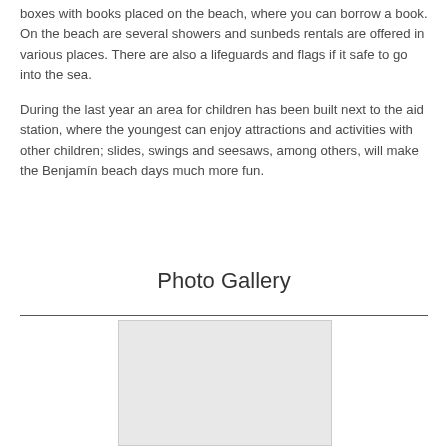boxes with books placed on the beach, where you can borrow a book. On the beach are several showers and sunbeds rentals are offered in various places. There are also a lifeguards and flags if it safe to go into the sea.
During the last year an area for children has been built next to the aid station, where the youngest can enjoy attractions and activities with other children; slides, swings and seesaws, among others, will make the Benjamín beach days much more fun.
Photo Gallery
[Figure (photo): A photo placeholder (light gray rectangle) representing a beach or gallery image.]